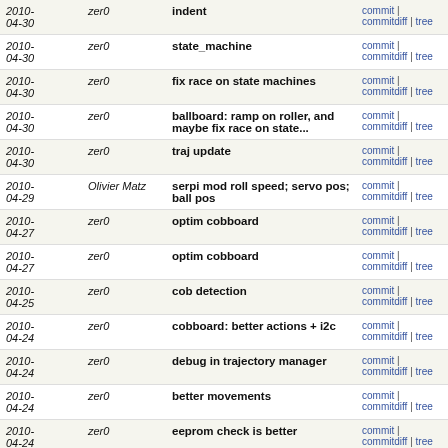| Date | Author | Message | Links |
| --- | --- | --- | --- |
| 2010-04-30 | zer0 | indent | commit | commitdiff | tree |
| 2010-04-30 | zer0 | state_machine | commit | commitdiff | tree |
| 2010-04-30 | zer0 | fix race on state machines | commit | commitdiff | tree |
| 2010-04-30 | zer0 | ballboard: ramp on roller, and maybe fix race on state... | commit | commitdiff | tree |
| 2010-04-30 | zer0 | traj update | commit | commitdiff | tree |
| 2010-04-29 | Olivier Matz | serpi mod roll speed; servo pos; ball pos | commit | commitdiff | tree |
| 2010-04-27 | zer0 | optim cobboard | commit | commitdiff | tree |
| 2010-04-27 | zer0 | optim cobboard | commit | commitdiff | tree |
| 2010-04-25 | zer0 | cob detection | commit | commitdiff | tree |
| 2010-04-24 | zer0 | cobboard: better actions + i2c | commit | commitdiff | tree |
| 2010-04-24 | zer0 | debug in trajectory manager | commit | commitdiff | tree |
| 2010-04-24 | zer0 | better movements | commit | commitdiff | tree |
| 2010-04-24 | zer0 | eeprom check is better | commit | commitdiff | tree |